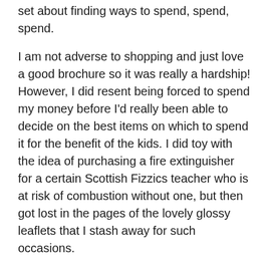set about finding ways to spend, spend, spend.
I am not adverse to shopping and just love a good brochure so it was really a hardship! However, I did resent being forced to spend my money before I'd really been able to decide on the best items on which to spend it for the benefit of the kids. I did toy with the idea of purchasing a fire extinguisher for a certain Scottish Fizzics teacher who is at risk of combustion without one, but then got lost in the pages of the lovely glossy leaflets that I stash away for such occasions.
So, what did I buy?
borders for displays
posters for walls all around the school
a subscription to Babelzone – a bargain at £49 with a wealth of sound files, games, listening